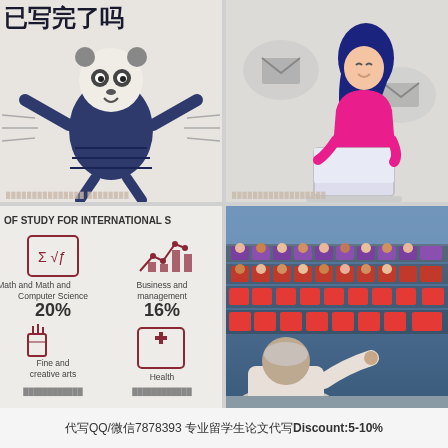[Figure (illustration): Cartoon panda character in a blue dress running, with Chinese text at top reading '已经写完了吗', watermark text at bottom]
[Figure (illustration): Illustration of a girl with dark hair in pink top sitting and working on a laptop, with email/message speech bubbles, on grey background, watermark at bottom]
[Figure (infographic): Infographic about fields of study for international students. Shows Math and Computer Science 20%, Business and management 16%, Fine art (icon visible), Health (icon visible). Title reads 'OF STUDY FOR INTERNATIONAL S...']
[Figure (photo): Photo of a lecture hall filled with students sitting in red/purple tiered seats, a professor seen from behind at the front pointing at students]
代写QQ/微信7878393 专业留学生论文代写Discount:5-10%